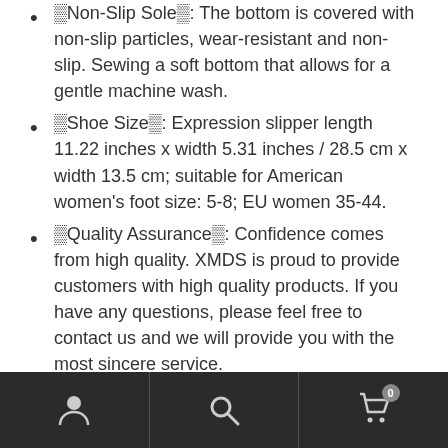🔲Non-Slip Sole🔲: The bottom is covered with non-slip particles, wear-resistant and non-slip. Sewing a soft bottom that allows for a gentle machine wash.
🔲Shoe Size🔲: Expression slipper length 11.22 inches x width 5.31 inches / 28.5 cm x width 13.5 cm; suitable for American women's foot size: 5-8; EU women 35-44.
🔲Quality Assurance🔲: Confidence comes from high quality. XMDS is proud to provide customers with high quality products. If you have any questions, please feel free to contact us and we will provide you with the most sincere service.
Package Dimensions: 145x348x200
[Figure (other): Mobile app bottom navigation bar with three sections: user/account icon (left), search magnifying glass icon (center), shopping cart icon with badge showing 0 (right), on a dark background.]